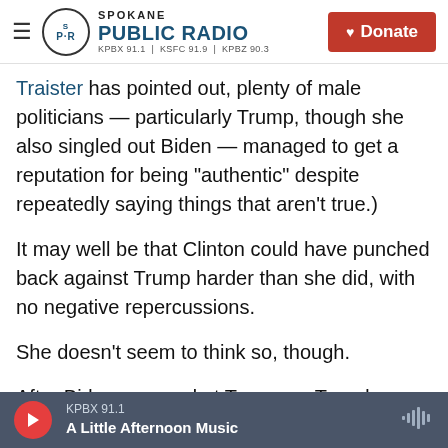Spokane Public Radio — KPBX 91.1 | KSFC 91.9 | KPBZ 90.3 | Donate
Traister has pointed out, plenty of male politicians — particularly Trump, though she also singled out Biden — managed to get a reputation for being "authentic" despite repeatedly saying things that aren't true.)
It may well be that Clinton could have punched back against Trump harder than she did, with no negative repercussions.
She doesn't seem to think so, though.
After Biden snapped at Trump on Tuesday night, telling him to "shut up," writer Jill Filipovic tweeted,
KPBX 91.1 — A Little Afternoon Music